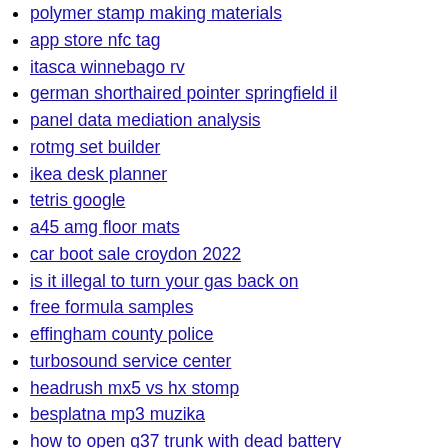polymer stamp making materials
app store nfc tag
itasca winnebago rv
german shorthaired pointer springfield il
panel data mediation analysis
rotmg set builder
ikea desk planner
tetris google
a45 amg floor mats
car boot sale croydon 2022
is it illegal to turn your gas back on
free formula samples
effingham county police
turbosound service center
headrush mx5 vs hx stomp
besplatna mp3 muzika
how to open g37 trunk with dead battery
batch substring
convert hash to private key
how old is chucky
child development center preschool
recreation center activities
brewtools uk
eber bible verse
180 crash fresno